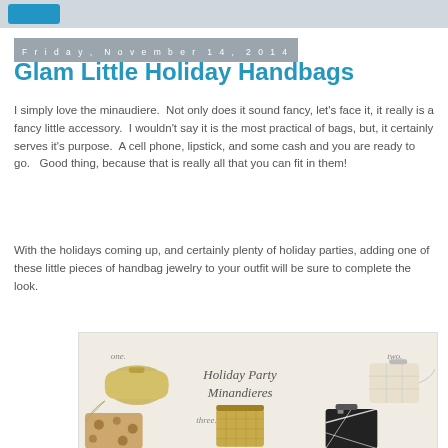Friday, November 14, 2014
Glam Little Holiday Handbags
I simply love the minaudiere.  Not only does it sound fancy, let's face it, it really is a fancy little accessory.  I wouldn't say it is the most practical of bags, but, it certainly serves it's purpose.  A cell phone, lipstick, and some cash and you are ready to go.   Good thing, because that is really all that you can fit in them!
With the holidays coming up, and certainly plenty of holiday parties, adding one of these little pieces of handbag jewelry to your outfit will be sure to complete the look.
[Figure (photo): Collage of holiday party minaudieres showing four small evening bags labeled one through four: a gold box clutch, a white quilted chain bag, a gold mesh clutch, and a black and white graphic clutch. Text reads 'Holiday Party Minaudieres'.]